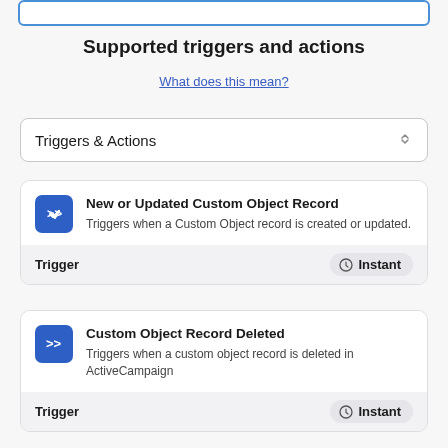[Figure (screenshot): Top input bar / search box with blue border]
Supported triggers and actions
What does this mean?
Triggers & Actions
New or Updated Custom Object Record
Triggers when a Custom Object record is created or updated.
Trigger
Instant
Custom Object Record Deleted
Triggers when a custom object record is deleted in ActiveCampaign
Trigger
Instant